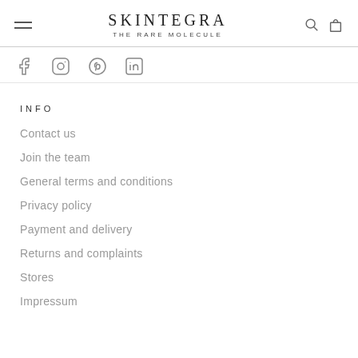SKINTEGRA THE RARE MOLECULE
[Figure (other): Social media icons: Facebook, Instagram, Pinterest, LinkedIn]
INFO
Contact us
Join the team
General terms and conditions
Privacy policy
Payment and delivery
Returns and complaints
Stores
Impressum